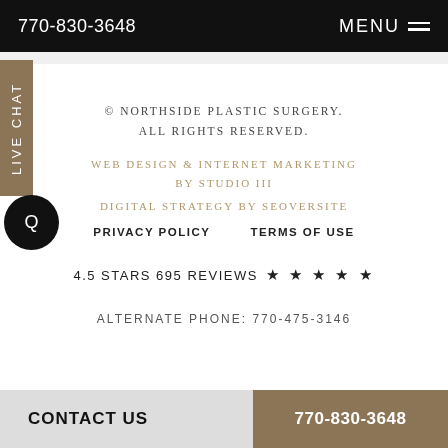770-830-3648   MENU
© NORTHSIDE PLASTIC SURGERY. ALL RIGHTS RESERVED.
WEB DESIGN & INTERNET MARKETING BY STUDIO III
DIGITAL STRATEGY BY SEOVERSITE
PRIVACY POLICY   TERMS OF USE
4.5 STARS 695 REVIEWS ★ ★ ★ ★ ★
ALTERNATE PHONE: 770-475-3146
CONTACT US   770-830-3648